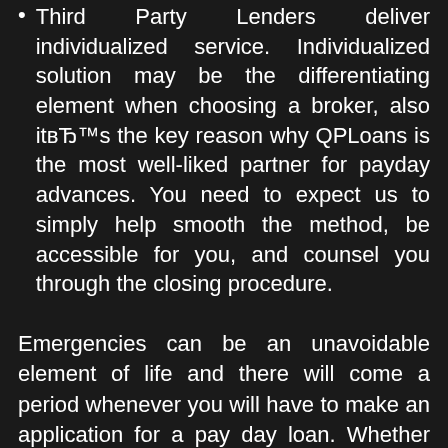Third Party Lenders deliver individualized service. Individualized solution may be the differentiating element when choosing a broker, also it's the key reason why QPLoans is the most well-liked partner for payday advances. You need to expect us to simply help smooth the method, be accessible for you, and counsel you through the closing procedure.
Emergencies can be an unavoidable element of life and there will come a period whenever you will have to make an application for a pay day loan. Whether you're applying for very first business loan, or calling a primary loan provider regarding the 5th loan, the procedure and experience could be unnerving. You can look at and manage [Dutch language selector widget]